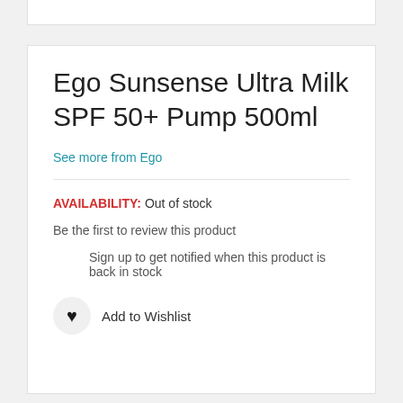Ego Sunsense Ultra Milk SPF 50+ Pump 500ml
See more from Ego
AVAILABILITY: Out of stock
Be the first to review this product
Sign up to get notified when this product is back in stock
Add to Wishlist